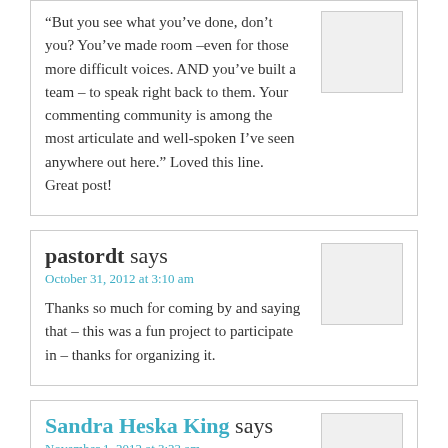“But you see what you’ve done, don’t you? You’ve made room –even for those more difficult voices. AND you’ve built a team – to speak right back to them. Your commenting community is among the most articulate and well-spoken I’ve seen anywhere out here.” Loved this line. Great post!
pastordt says
October 31, 2012 at 3:10 am
Thanks so much for coming by and saying that – this was a fun project to participate in – thanks for organizing it.
Sandra Heska King says
November 1, 2012 at 3:23 am
I want you in my corner…
pastordt says
November 1, 2012 at 3:36 am